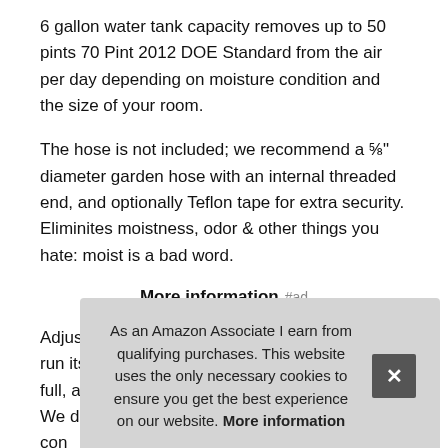6 gallon water tank capacity removes up to 50 pints 70 Pint 2012 DOE Standard from the air per day depending on moisture condition and the size of your room.
The hose is not included; we recommend a ⅝" diameter garden hose with an internal threaded end, and optionally Teflon tape for extra security. Eliminites moistness, odor & other things you hate: moist is a bad word.
More information #ad
Adjust to your ideal moisture setting, then let it run its continuous 24-hour cycle until the tank is full, at which point it will automatically shut off. We designed with the modern con... whe... curr...
As an Amazon Associate I earn from qualifying purchases. This website uses the only necessary cookies to ensure you get the best experience on our website. More information
Don't got time for that? There's also a drain hose outlet for